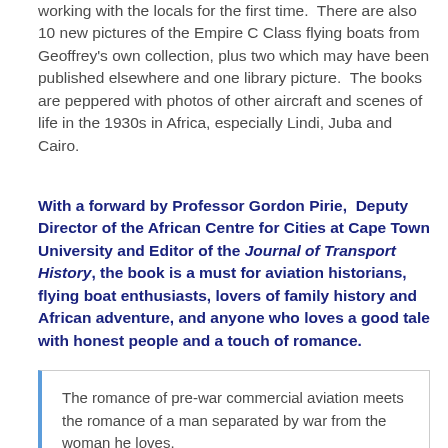working with the locals for the first time.  There are also 10 new pictures of the Empire C Class flying boats from Geoffrey's own collection, plus two which may have been published elsewhere and one library picture.  The books are peppered with photos of other aircraft and scenes of life in the 1930s in Africa, especially Lindi, Juba and Cairo.
With a forward by Professor Gordon Pirie,  Deputy Director of the African Centre for Cities at Cape Town University and Editor of the Journal of Transport History, the book is a must for aviation historians, flying boat enthusiasts, lovers of family history and African adventure, and anyone who loves a good tale with honest people and a touch of romance.
The romance of pre-war commercial aviation meets the romance of a man separated by war from the woman he loves.